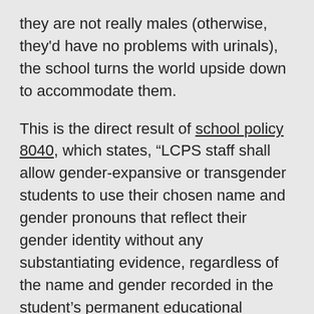they are not really males (otherwise, they'd have no problems with urinals), the school turns the world upside down to accommodate them.
This is the direct result of school policy 8040, which states, “LCPS staff shall allow gender-expansive or transgender students to use their chosen name and gender pronouns that reflect their gender identity without any substantiating evidence, regardless of the name and gender recorded in the student’s permanent educational record.”
So, no substantiating evidence is needed,